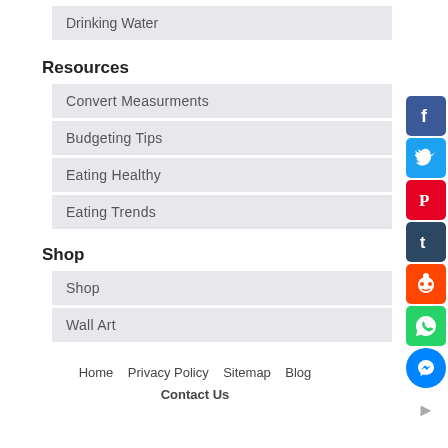Drinking Water
Resources
Convert Measurments
Budgeting Tips
Eating Healthy
Eating Trends
Shop
Shop
Wall Art
Home  Privacy Policy  Sitemap  Blog  Contact Us